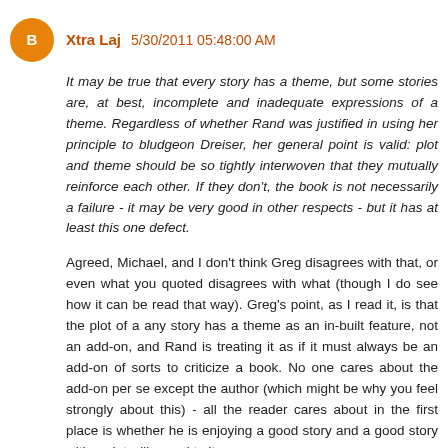Xtra Laj 5/30/2011 05:48:00 AM
It may be true that every story has a theme, but some stories are, at best, incomplete and inadequate expressions of a theme. Regardless of whether Rand was justified in using her principle to bludgeon Dreiser, her general point is valid: plot and theme should be so tightly interwoven that they mutually reinforce each other. If they don't, the book is not necessarily a failure - it may be very good in other respects - but it has at least this one defect.
Agreed, Michael, and I don't think Greg disagrees with that, or even what you quoted disagrees with what (though I do see how it can be read that way). Greg's point, as I read it, is that the plot of a any story has a theme as an in-built feature, not an add-on, and Rand is treating it as if it must always be an add-on of sorts to criticize a book. No one cares about the add-on per se except the author (which might be why you feel strongly about this) - all the reader cares about in the first place is whether he is enjoying a good story and a good story with a plot will reveal to its